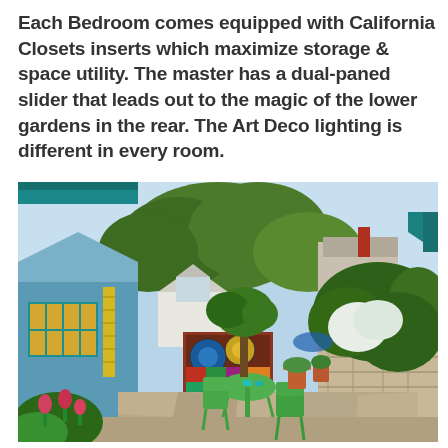Each Bedroom comes equipped with California Closets inserts which maximize storage & space utility. The master has a dual-paned slider that leads out to the magic of the lower gardens in the rear. The Art Deco lighting is different in every room.
[Figure (photo): Outdoor patio/garden area of a residential property. A stone-paved patio with green metal table and chairs in the center. On the left is a blue house exterior with teal-trimmed windows and a yellow lattice. A colorful mosaic/decorative fence panel is visible in the background. Dense green trees and shrubs surround the space, with a stone retaining wall on the right. Another house with a red chimney is visible in the upper right background.]